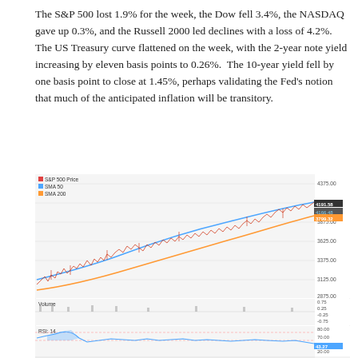The S&P 500 lost 1.9% for the week, the Dow fell 3.4%, the NASDAQ gave up 0.3%, and the Russell 2000 led declines with a loss of 4.2%.  The US Treasury curve flattened on the week, with the 2-year note yield increasing by eleven basis points to 0.26%.  The 10-year yield fell by one basis point to close at 1.45%, perhaps validating the Fed's notion that much of the anticipated inflation will be transitory.
[Figure (continuous-plot): S&P 500 Price chart with SMA 50 (blue line) and SMA 200 (orange line), showing upward trend from approximately 3050 to 4375. Below: Volume panel. Below that: RSI 14 panel showing oscillator around 40-70 range. Current values shown: S&P 500 Price ~4191.58, SMA 50 ~4166.48, SMA 200 ~3799.32, RSI ~43.27.]